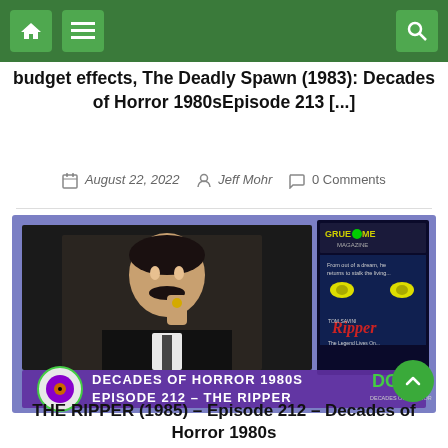budget effects, The Deadly Spawn (1983): Decades of Horror 1980sEpisode 213 [...]
August 22, 2022   Jeff Mohr   0 Comments
[Figure (screenshot): Thumbnail image for podcast episode showing a man in dark clothing with a mustache, alongside a movie cover for 'Ripper' with text 'DECADES OF HORROR 1980S EPISODE 212 - THE RIPPER' and Gruesome Magazine logo]
THE RIPPER (1985) – Episode 212 – Decades of Horror 1980s